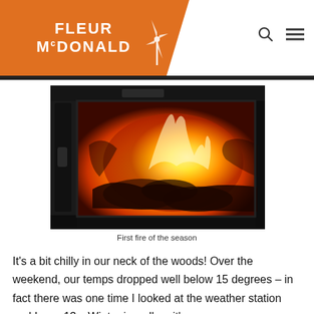FLEUR McDONALD
[Figure (photo): Wood-burning fireplace/stove with glowing flames and burning logs visible through the glass door, dark metal frame surrounding the firebox]
First fire of the season
It's a bit chilly in our neck of the woods! Over the weekend, our temps dropped well below 15 degrees – in fact there was one time I looked at the weather station and I saw 13c. Winter is well on it's